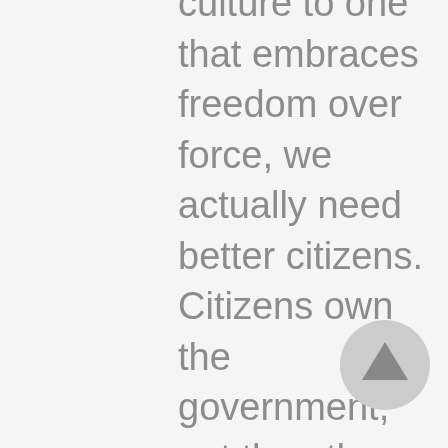culture to one that embraces freedom over force, we actually need better citizens. Citizens own the government, not the other way around, so the only way to ensure government plays its proper role, focused on protecting the people's individual rights, is for active, engaged citizens to be informed and involved enough to hold their officials accountable. Who is a fit for the Leadership Program of the Rockies? The problem of American culture is not a partisan one, but a divide that is at the heart of America's future. Active citizens can ensure a free future only if they are informed and prepared. We look
[Figure (other): A circular scroll-to-top button with an upward arrow, gray background]